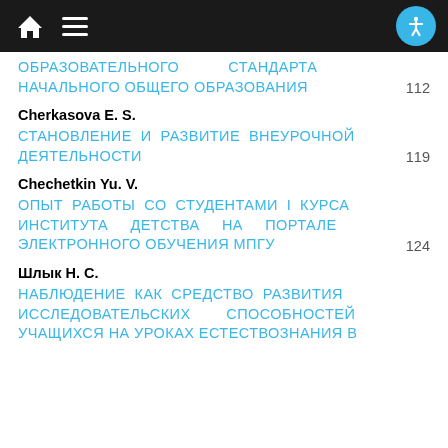Navigation bar with home, menu, and accessibility button
ОБРАЗОВАТЕЛЬНОГО СТАНДАРТА НАЧАЛЬНОГО ОБЩЕГО ОБРАЗОВАНИЯ 112
Cherkasova E. S.
СТАНОВЛЕНИЕ И РАЗВИТИЕ ВНЕУРОЧНОЙ ДЕЯТЕЛЬНОСТИ 119
Chechetkin Yu. V.
ОПЫТ РАБОТЫ СО СТУДЕНТАМИ I КУРСА ИНСТИТУТА ДЕТСТВА НА ПОРТАЛЕ ЭЛЕКТРОННОГО ОБУЧЕНИЯ МПГУ 124
Шлык Н. С.
НАБЛЮДЕНИЕ КАК СРЕДСТВО РАЗВИТИЯ ИССЛЕДОВАТЕЛЬСКИХ СПОСОБНОСТЕЙ УЧАЩИХСЯ НА УРОКАХ ЕСТЕСТВОЗНАНИЯ В